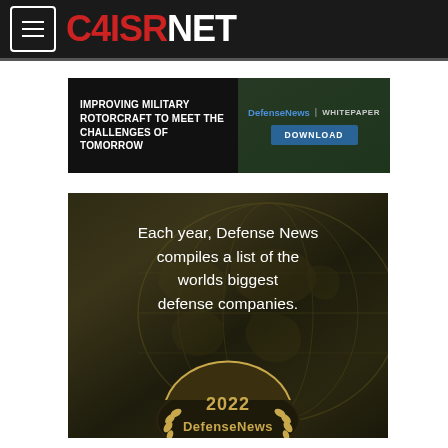C4ISRNET
[Figure (screenshot): DefenseNews whitepaper ad banner: IMPROVING MILITARY ROTORCRAFT TO MEET THE CHALLENGES OF TOMORROW | DefenseNews | WHITEPAPER | DOWNLOAD button]
[Figure (illustration): Dark olive/gold background with world map silhouette. Text: Each year, Defense News compiles a list of the worlds biggest defense companies. Bottom shows 2022 DefenseNews award badge with laurel wreath.]